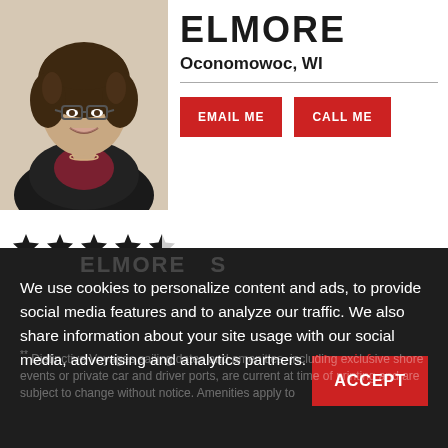[Figure (photo): Headshot of a woman with curly dark hair and glasses, wearing a dark blazer and burgundy top, smiling]
ELMORE
Oconomowoc, WI
[Figure (infographic): 4.5 out of 5 stars rating]
(44 Reviews)
98% Recommended
We use cookies to personalize content and ads, to provide social media features and to analyze our traffic. We also share information about your site usage with our social media, advertising and analytics partners.  More info.
** Distinctive Voyages sailing dates and amenities, including exclusive shore events or private car and driver ports, are current at time of printing and are subject to change without notice. Amenities apply to